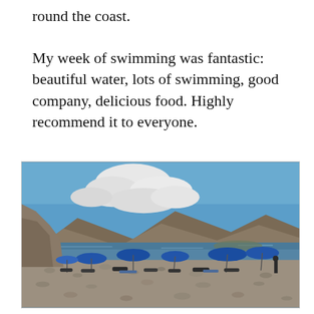round the coast.
My week of swimming was fantastic: beautiful water, lots of swimming, good company, delicious food. Highly recommend it to everyone.
[Figure (photo): A pebble beach scene with blue parasols/umbrellas and sunbathers, a rocky hillside in the background, calm blue sea, and a partly cloudy blue sky.]